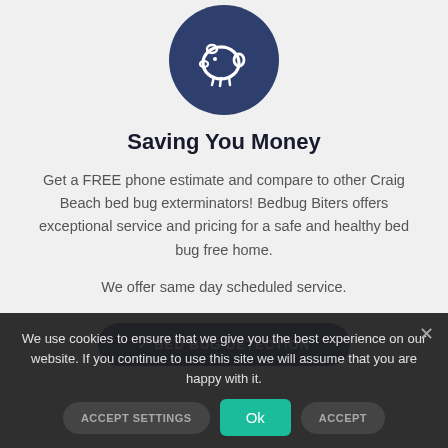[Figure (illustration): Dark navy blue circle icon with a piggy bank outline in white]
Saving You Money
Get a FREE phone estimate and compare to other Craig Beach bed bug exterminators! Bedbug Biters offers exceptional service and pricing for a safe and healthy bed bug free home.
We offer same day scheduled service.
✓ BED BUG DETECTION
We use cookies to ensure that we give you the best experience on our website. If you continue to use this site we will assume that you are happy with it.